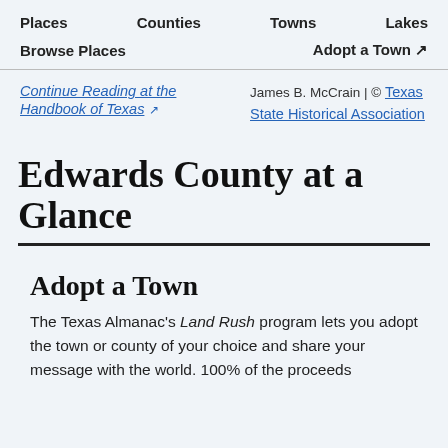Places   Counties   Towns   Lakes
Browse Places   Adopt a Town ↗
Continue Reading at the Handbook of Texas ↗
James B. McCrain | © Texas State Historical Association
Edwards County at a Glance
Adopt a Town
The Texas Almanac's Land Rush program lets you adopt the town or county of your choice and share your message with the world. 100% of the proceeds